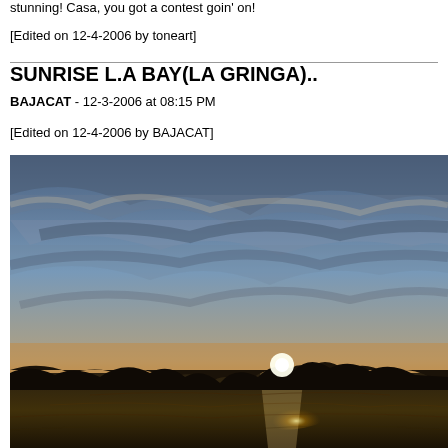stunning! Casa, you got a contest goin' on!
[Edited on 12-4-2006 by toneart]
SUNRISE L.A BAY(LA GRINGA)..
BAJACAT - 12-3-2006 at 08:15 PM
[Edited on 12-4-2006 by BAJACAT]
[Figure (photo): Sunrise photo over LA Bay (La Gringa), showing a dramatic sky with clouds lit in blue and grey tones, silhouetted mountains and hills along the horizon, and a bright sun rising just above the mountain ridgeline reflecting on calm water below.]